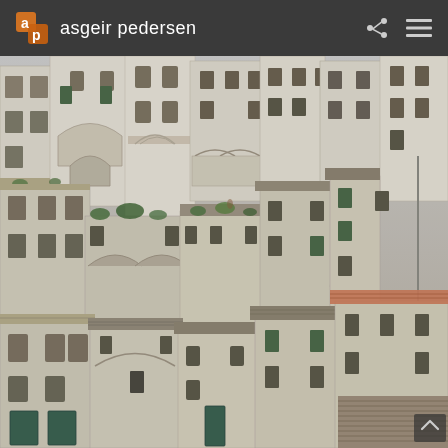asgeir pedersen
[Figure (photo): Dense cluster of ancient stone buildings in Matera, Italy (Sassi di Matera). Multi-story limestone structures stacked on a hillside, with arched doorways, small windows, tiled roofs, and some green shutters visible. The buildings are various shades of grey-white limestone. A satellite dish is visible on the right side.]